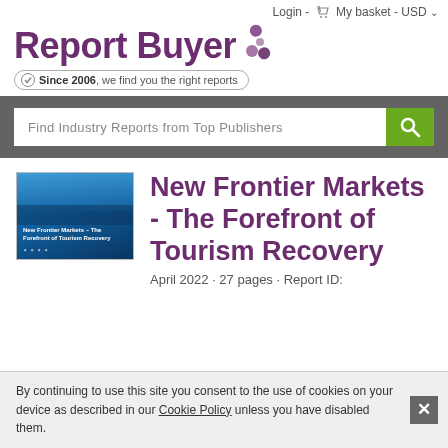Login - My basket - USD
[Figure (logo): Report Buyer logo with puzzle-piece icon and tagline 'Since 2006, we find you the right reports']
[Figure (other): Search bar with placeholder 'Find Industry Reports from Top Publishers' and green search button]
[Figure (photo): Thumbnail image of report cover: New Frontier Markets - The Forefront of Tourism Recovery]
New Frontier Markets - The Forefront of Tourism Recovery
April 2022 · 27 pages · Report ID:
By continuing to use this site you consent to the use of cookies on your device as described in our Cookie Policy unless you have disabled them.